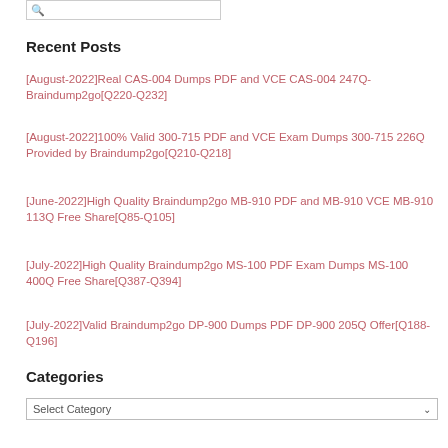[Figure (other): Search box with magnifying glass icon]
Recent Posts
[August-2022]Real CAS-004 Dumps PDF and VCE CAS-004 247Q-Braindump2go[Q220-Q232]
[August-2022]100% Valid 300-715 PDF and VCE Exam Dumps 300-715 226Q Provided by Braindump2go[Q210-Q218]
[June-2022]High Quality Braindump2go MB-910 PDF and MB-910 VCE MB-910 113Q Free Share[Q85-Q105]
[July-2022]High Quality Braindump2go MS-100 PDF Exam Dumps MS-100 400Q Free Share[Q387-Q394]
[July-2022]Valid Braindump2go DP-900 Dumps PDF DP-900 205Q Offer[Q188-Q196]
Categories
[Figure (other): Select Category dropdown]